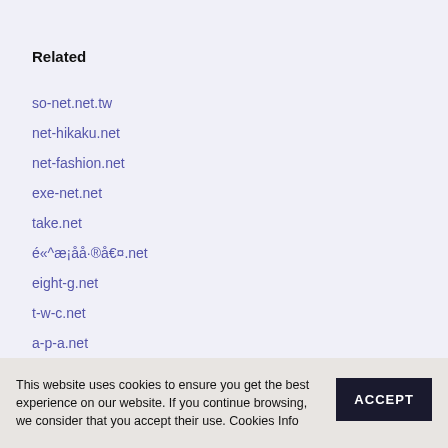Related
so-net.net.tw
net-hikaku.net
net-fashion.net
exe-net.net
take.net
é«^æ¡åå·®å€¤.net
eight-g.net
t-w-c.net
a-p-a.net
This website uses cookies to ensure you get the best experience on our website. If you continue browsing, we consider that you accept their use. Cookies Info